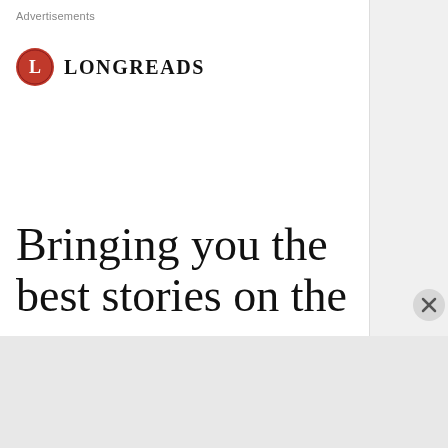Advertisements
[Figure (logo): Longreads logo: red circle with white L, followed by LONGREADS text in serif font]
Bringing you the best stories on the
Advertisements
[Figure (infographic): DuckDuckGo advertisement: orange/red background with text 'Search, browse, and email with more privacy. All in One Free App' and a phone showing DuckDuckGo app]